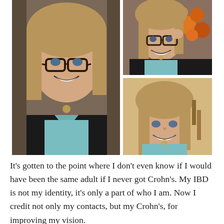[Figure (photo): A three-photo collage of a young woman with blonde wavy hair. Left large photo: close-up smiling portrait wearing dark-rimmed glasses, black cardigan, and light blue top with a gold necklace. Top-right photo: similar woman pulling glasses down with orange flowers in background. Bottom-right photo: same woman smiling without glasses, same light blue top and gold necklace.]
It's gotten to the point where I don't even know if I would have been the same adult if I never got Crohn's. My IBD is not my identity, it's only a part of who I am. Now I credit not only my contacts, but my Crohn's, for improving my vision.